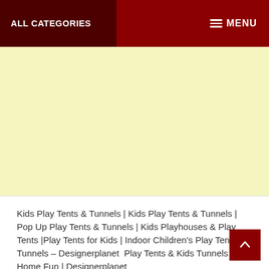ALL CATEGORIES   MENU
[Figure (other): Yellow/cream colored advertisement banner area]
Kids Play Tents & Tunnels | Kids Play Tents & Tunnels | Pop Up Play Tents & Tunnels | Kids Playhouses & Play Tents |Play Tents for Kids | Indoor Children's Play Tents & Tunnels – Designerplanet  Play Tents & Kids Tunnels for At Home Fun | Designerplanet